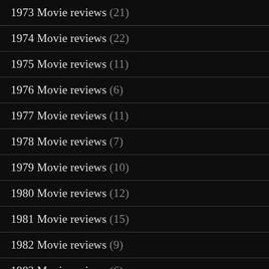1973 Movie reviews (21)
1974 Movie reviews (22)
1975 Movie reviews (11)
1976 Movie reviews (6)
1977 Movie reviews (11)
1978 Movie reviews (7)
1979 Movie reviews (10)
1980 Movie reviews (12)
1981 Movie reviews (15)
1982 Movie reviews (9)
1983 Movie reviews (6)
1984 Movie reviews (8)
1985 Movie reviews (11)